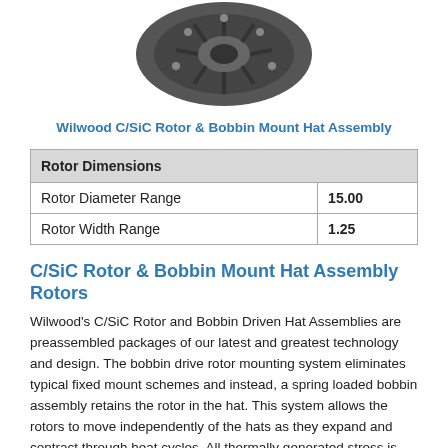[Figure (photo): Wilwood C/SiC Rotor & Bobbin Mount Hat Assembly - photograph of a dark metal rotor disc from above]
Wilwood C/SiC Rotor & Bobbin Mount Hat Assembly
| Rotor Dimensions |  |
| --- | --- |
| Rotor Diameter Range | 15.00 |
| Rotor Width Range | 1.25 |
C/SiC Rotor & Bobbin Mount Hat Assembly Rotors
Wilwood's C/SiC Rotor and Bobbin Driven Hat Assemblies are preassembled packages of our latest and greatest technology and design. The bobbin drive rotor mounting system eliminates typical fixed mount schemes and instead, a spring loaded bobbin assembly retains the rotor in the hat. This system allows the rotors to move independently of the hats as they expand and contract through heat cycles. All thermally generated stress is removed from the rotor attachment points. The rotors stay flatter and run truer. Paired with C/SiC rotors that are made form a proprietary blend